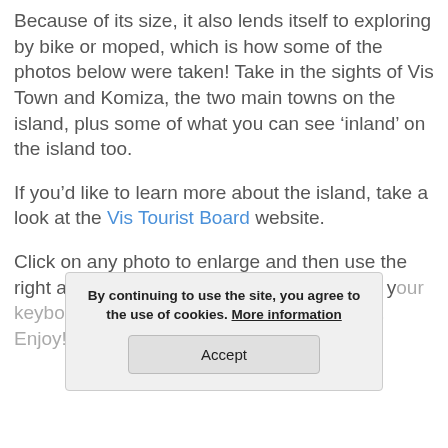Because of its size, it also lends itself to exploring by bike or moped, which is how some of the photos below were taken! Take in the sights of Vis Town and Komiza, the two main towns on the island, plus some of what you can see ‘inland’ on the island too.
If you’d like to learn more about the island, take a look at the Vis Tourist Board website.
Click on any photo to enlarge and then use the right and left arrows (or the same arrows on your keyboard) to cycle through the entire album. Enjoy!
By continuing to use the site, you agree to the use of cookies. More information Accept